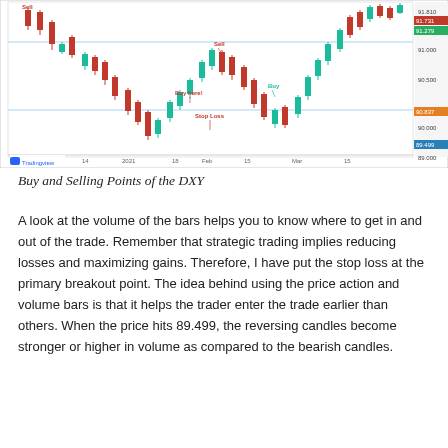[Figure (other): Candlestick chart of DXY (US Dollar Index) from TradingView showing buy and selling points. Chart includes red (bearish) and teal/green (bullish) candlesticks, two horizontal support/resistance lines, annotations for 'Sell', 'Buy here!', 'Buy', and 'Stop Loss' labels, and price levels on the right axis including 91.279, 90.837, 89.499. X-axis shows dates: Dec, 14, 2021, 18, Feb, 15, Mar, 15. TradingView watermark in bottom-left.]
Buy and Selling Points of the DXY
A look at the volume of the bars helps you to know where to get in and out of the trade. Remember that strategic trading implies reducing losses and maximizing gains. Therefore, I have put the stop loss at the primary breakout point. The idea behind using the price action and volume bars is that it helps the trader enter the trade earlier than others. When the price hits 89.499, the reversing candles become stronger or higher in volume as compared to the bearish candles.